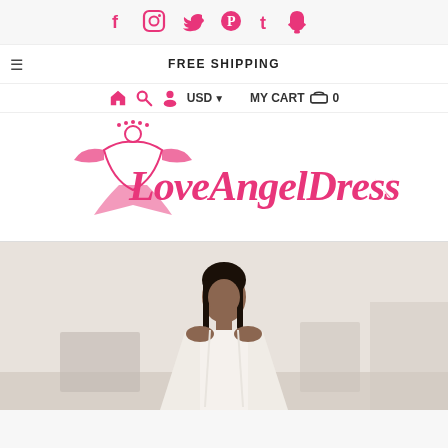Social media icons: Facebook, Instagram, Twitter, Pinterest, Tumblr, Snapchat
FREE SHIPPING
Home | Search | Account | USD ▾ | MY CART 🛒 0
[Figure (logo): LoveAngelDress logo with angel figure in pink script font]
[Figure (photo): Model wearing a white dress, dark hair, standing in a room]